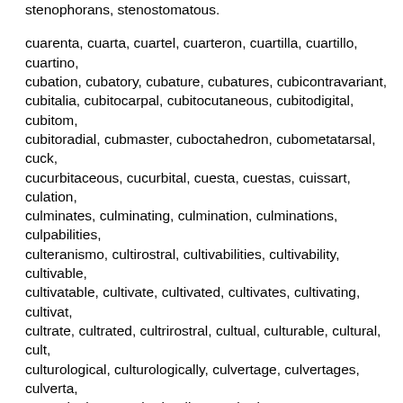stenophorans, stenostomatous.
cuarenta, cuarta, cuartel, cuarteron, cuartilla, cuartillo, cuartino, cubation, cubatory, cubature, cubatures, cubicontravariant, cubitalia, cubitocarpal, cubitocutaneous, cubitodigital, cubitom, cubitoradial, cubmaster, cuboctahedron, cubometatarsal, cuck, cucurbitaceous, cucurbital, cuesta, cuestas, cuissart, culation, culminates, culminating, culmination, culminations, culpabilitie, culteranismo, cultirostral, cultivabilities, cultivability, cultivable, cultivatable, cultivate, cultivated, cultivates, cultivating, cultivat, cultrate, cultrated, cultrirostral, cultual, culturable, cultural, cult, culturological, culturologically, culvertage, culvertages, culverta, cumaphytism, cumberlandite, cumbraite, cumquat, cumquats, cumulately, cumulates, cumulating, cumulation, cumulations, c, cunctation, cunctations, cunctatious, cunctator, cunctators, cun, cuneated, cuneately, cuneatic, cuneator, cupellation, cupellatio, cuproiodargyrite, cupulate, curabilities, curability, curarization, curated, curatel, curates, curateship, curateships, curatess, cu, curatize, curatolatry, curator, curatorial, curatorium, curators, c, curatrices, curatrix, curatrixes, curats, curemaster, curettage, c, curialities, curiality, curiate, curietherapies, curietherapy, curna, curranty, curratow, curricularization, cursitate, curtail, curtailed, curtailment, curtailments, curtails, curtain, curtained, curtaining, curtalax, curtalaxe, curtalaxes, curtals, curtana, curtanas, curta, curtelace, curtilage, curtilages, curtlax, curvant, curvate, curva, curvatures, curvicaudate, curvicostate, curvidentate, curvifolia